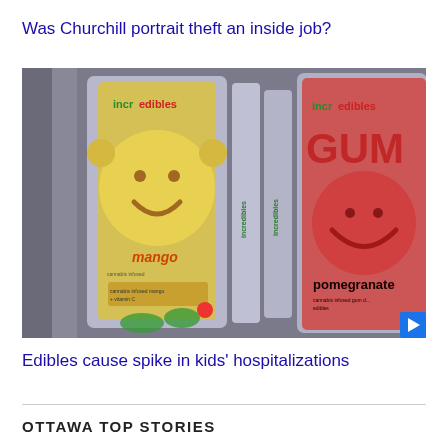Was Churchill portrait theft an inside job?
[Figure (photo): Photo of 'incredibles' branded cannabis edible packages on a shelf — mango flavor on the left with a yellow cartoon bear character, and pomegranate GUM flavor on the right with a red cartoon bear character. Multiple silver packages visible in between.]
Edibles cause spike in kids' hospitalizations
OTTAWA TOP STORIES